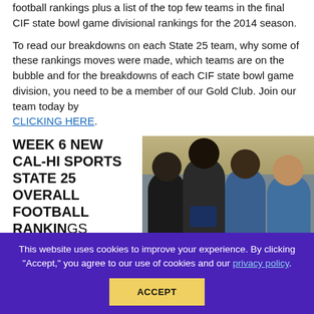football rankings plus a list of the top few teams in the final CIF state bowl game divisional rankings for the 2014 season.
To read our breakdowns on each State 25 team, why some of these rankings moves were made, which teams are on the bubble and for the breakdowns of each CIF state bowl game division, you need to be a member of our Gold Club. Join our team today by CLICKING HERE.
WEEK 6 NEW CAL-HI SPORTS STATE 25 OVERALL FOOTBALL RANKINGS
[Figure (photo): Four men posing together, one wearing an NFL jersey shirt, others in athletic wear, taken under a canopy or awning structure]
(Rankings and...
This website uses cookies to improve your experience. By clicking "Accept," you agree to our use of cookies and our privacy policy.
ACCEPT